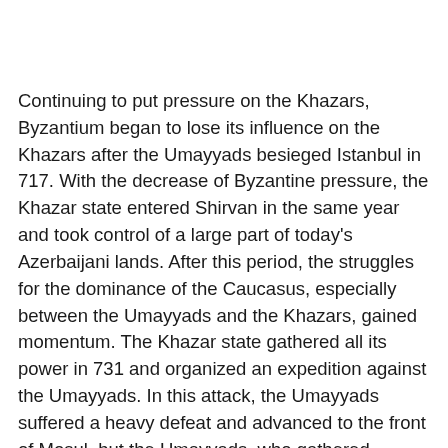Continuing to put pressure on the Khazars, Byzantium began to lose its influence on the Khazars after the Umayyads besieged Istanbul in 717. With the decrease of Byzantine pressure, the Khazar state entered Shirvan in the same year and took control of a large part of today's Azerbaijani lands. After this period, the struggles for the dominance of the Caucasus, especially between the Umayyads and the Khazars, gained momentum. The Khazar state gathered all its power in 731 and organized an expedition against the Umayyads. In this attack, the Umayyads suffered a heavy defeat and advanced to the front of Mosul, but the Umayyads, who gathered strength again, attacked the Khazars again under the leadership of Sait El Haraşi, and they took the region up to the front of Azerbaijan again under their control.